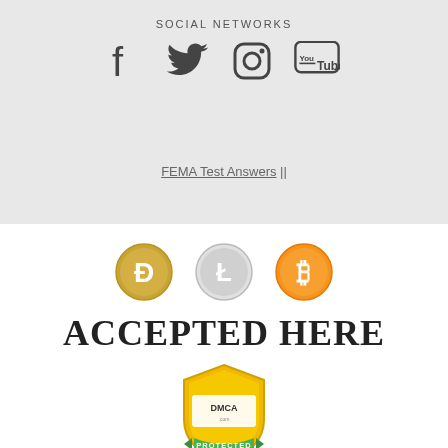SOCIAL NETWORKS
[Figure (illustration): Social media icons: Facebook, Twitter, Instagram, YouTube]
FEMA Test Answers ||
[Figure (illustration): Cryptocurrency icons: Dogecoin, Litecoin, Bitcoin]
ACCEPTED HERE
[Figure (logo): DMCA.com Protected badge - gold shield with green ribbon]